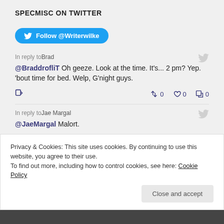SPECMISC ON TWITTER
[Figure (other): Twitter Follow button with bird logo: Follow @Writerwilke]
In reply toBrad
@BraddrofliT Oh geeze. Look at the time. It's... 2 pm? Yep. 'bout time for bed. Welp, G'night guys.
In reply toJae Margal
@JaeMargal Malort.
Privacy & Cookies: This site uses cookies. By continuing to use this website, you agree to their use.
To find out more, including how to control cookies, see here: Cookie Policy